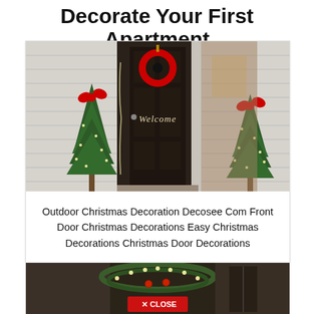Decorate Your First Apartment
[Figure (photo): Front door Christmas decoration scene: dark brown door with red wreath and 'Welcome' script, two small Christmas trees with lights and red bows flanking the entrance, white siding walls]
Outdoor Christmas Decoration Decosee Com Front Door Christmas Decorations Easy Christmas Decorations Christmas Door Decorations
[Figure (photo): Second Christmas decoration scene partially visible at bottom, showing lit garland and decorative elements. A red 'CLOSE' button overlay visible at the bottom center.]